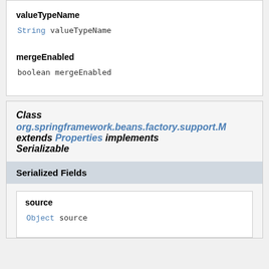valueTypeName
String valueTypeName
mergeEnabled
boolean mergeEnabled
Class org.springframework.beans.factory.support.M extends Properties implements Serializable
Serialized Fields
source
Object source